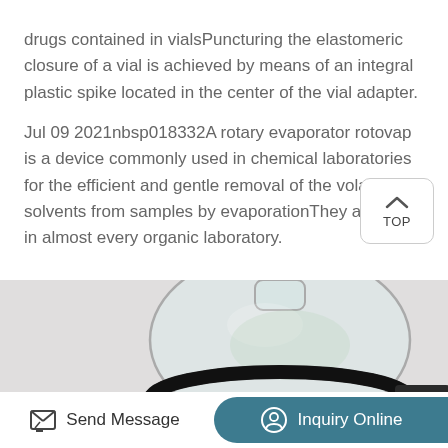drugs contained in vialsPuncturing the elastomeric closure of a vial is achieved by means of an integral plastic spike located in the center of the vial adapter.
Jul 09 2021nbsp018332A rotary evaporator rotovap is a device commonly used in chemical laboratories for the efficient and gentle removal of the volatile solvents from samples by evaporationThey are found in almost every organic laboratory.
[Figure (photo): Close-up photograph of a rotary evaporator flask (round-bottom glass flask) sitting in a black circular heating bath/ring. The glass flask is transparent and placed in a dark metal or rubber ring holder with black rods visible on the right side.]
Send Message   Inquiry Online